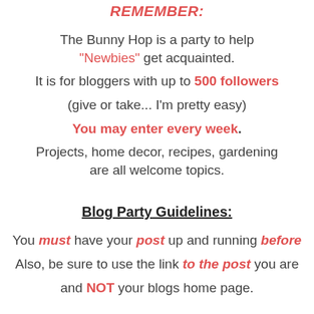REMEMBER:
The Bunny Hop is a party to help "Newbies" get acquainted.
It is for bloggers with up to 500 followers
(give or take... I'm pretty easy)
You may enter every week.
Projects, home decor, recipes, gardening are all welcome topics.
Blog Party Guidelines:
You must have your post up and running before
Also, be sure to use the link to the post you are
and NOT your blogs home page.